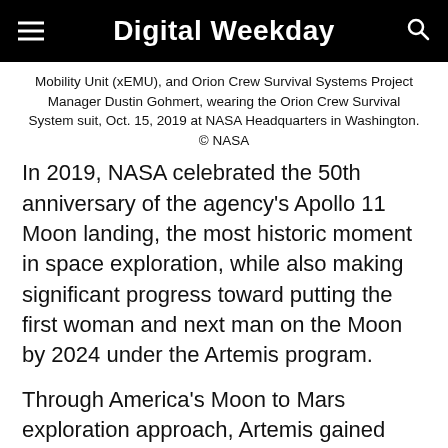Digital Weekday
Mobility Unit (xEMU), and Orion Crew Survival Systems Project Manager Dustin Gohmert, wearing the Orion Crew Survival System suit, Oct. 15, 2019 at NASA Headquarters in Washington. © NASA
In 2019, NASA celebrated the 50th anniversary of the agency's Apollo 11 Moon landing, the most historic moment in space exploration, while also making significant progress toward putting the first woman and next man on the Moon by 2024 under the Artemis program.
Through America's Moon to Mars exploration approach, Artemis gained bipartisan support this year among members of Congress, th U.S aerospace industry, as well as with